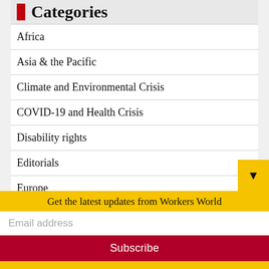Categories
Africa
Asia & the Pacific
Climate and Environmental Crisis
COVID-19 and Health Crisis
Disability rights
Editorials
Europe
Global
Human needs before profits
Im/migrants and Refugees
Get the latest updates from Workers World
Email address
Subscribe